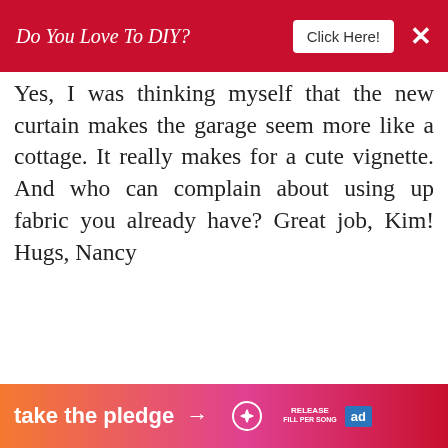Do You Love To DIY?  Click Here!  ×
Yes, I was thinking myself that the new curtain makes the garage seem more like a cottage. It really makes for a cute vignette. And who can complain about using up fabric you already have? Great job, Kim! Hugs, Nancy
REPLY DELETE
▾ REPLIES
Kim
JULY 16, 2019 AT 3:58 PM
WHAT'S NEXT → How To Make Ring Clip...
take the pledge →